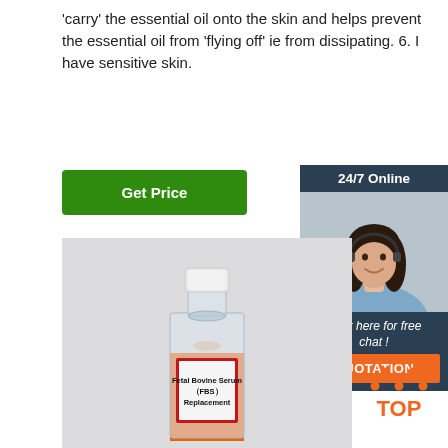'carry' the essential oil onto the skin and helps prevent the essential oil from 'flying off' ie from dissipating. 6. I have sensitive skin.
[Figure (other): Green 'Get Price' button]
[Figure (other): 24/7 Online chat widget sidebar with woman wearing headset, 'Click here for free chat!' text, and orange QUOTATION button]
[Figure (photo): Product photo of a laboratory bottle labeled 'Fetal Bovine Serum (FBS) Replacement' with orange liquid and red label border, on grey background]
[Figure (logo): TOP icon with orange dots forming a house/triangle shape above the word TOP in orange]